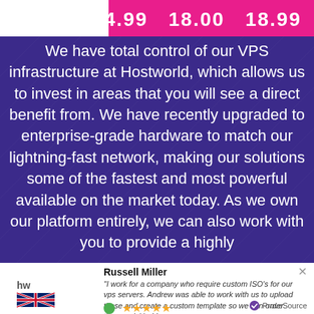[Figure (screenshot): Top pink/magenta bar with white box on left and prices '14.99  18.00  18.99' in white bold text]
We have total control of our VPS infrastructure at Hostworld, which allows us to invest in areas that you will see a direct benefit from. We have recently upgraded to enterprise-grade hardware to match our lightning-fast network, making our solutions some of the fastest and most powerful available on the market today. As we own our platform entirely, we can also work with you to provide a highly
Russell Miller
"I work for a company who require custom ISO's for our vps servers. Andrew was able to work with us to upload these and create a custom template so we can order these quickly. Very..."